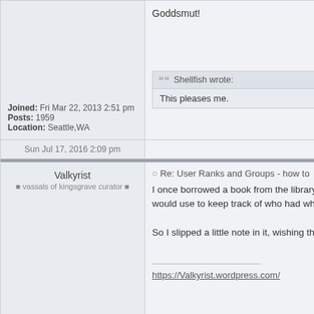Goddsmut!
Shellfish wrote:
This pleases me.
Joined: Fri Mar 22, 2013 2:51 pm
Posts: 1959
Location: Seattle,WA
Sun Jul 17, 2016 2:09 pm
Valkyrist
vassals of kingsgrave curator
Re: User Ranks and Groups - how to
I once borrowed a book from the library t... would use to keep track of who had wha...

So I slipped a little note in it, wishing the...

https://Valkyrist.wordpress.com/
Joined: Thu Apr 19, 2012 9:59 pm